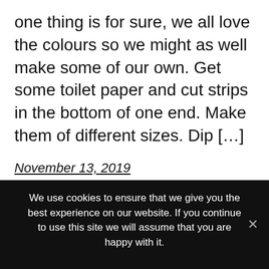one thing is for sure, we all love the colours so we might as well make some of our own. Get some toilet paper and cut strips in the bottom of one end. Make them of different sizes. Dip […]
November 13, 2019
We use cookies to ensure that we give you the best experience on our website. If you continue to use this site we will assume that you are happy with it.